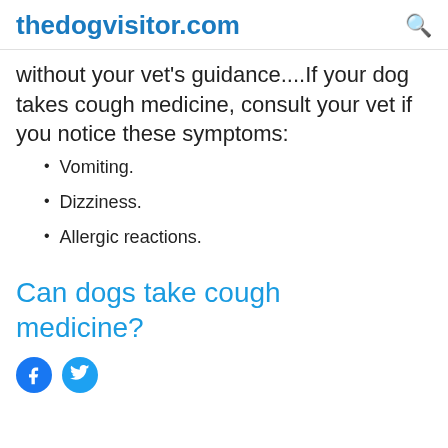thedogvisitor.com
without your vet's guidance....If your dog takes cough medicine, consult your vet if you notice these symptoms:
Vomiting.
Dizziness.
Allergic reactions.
Can dogs take cough medicine?
[Figure (logo): Facebook and Twitter social media icons]